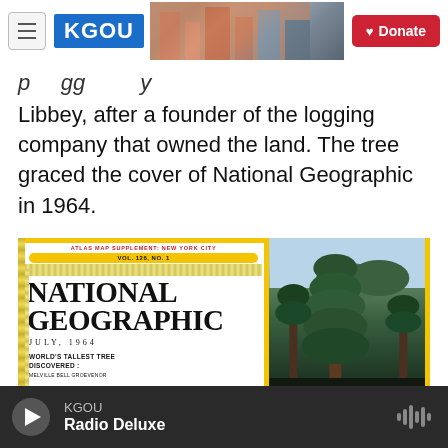KGOU | Donate
p...gg...y Libbey, after a founder of the logging company that owned the land. The tree graced the cover of National Geographic in 1964.
[Figure (photo): National Geographic magazine cover, July 1964, showing 'WORLD'S TALLEST TREE DISCOVERED' by Melville Bell Groevenor, VOL. 126, NO. 1, with ATLAS MAP SUPPLEMENT: NEW YORK CITY at top. Cover shows tall redwood trees on right side.]
KGOU Radio Deluxe